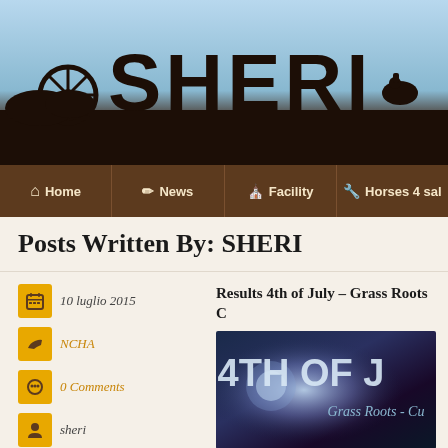[Figure (photo): Website header banner showing large SHERI text silhouette against a sky background with wagon wheel and cowboy figure silhouettes]
Home | News | Facility | Horses 4 sal
Posts Written By: SHERI
10 luglio 2015
NCHA
0 Comments
sheri
Results 4th of July – Grass Roots C
[Figure (photo): Promotional image showing 4TH OF J text and Grass Roots - Cu text with sparkle/fireworks effect]